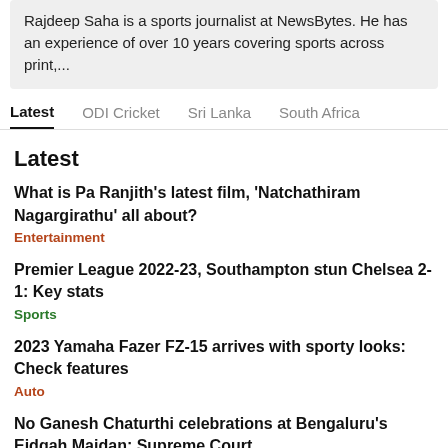Rajdeep Saha is a sports journalist at NewsBytes. He has an experience of over 10 years covering sports across print,...
Latest | ODI Cricket | Sri Lanka | South Africa
Latest
What is Pa Ranjith's latest film, 'Natchathiram Nagargirathu' all about?
Entertainment
Premier League 2022-23, Southampton stun Chelsea 2-1: Key stats
Sports
2023 Yamaha Fazer FZ-15 arrives with sporty looks: Check features
Auto
No Ganesh Chaturthi celebrations at Bengaluru's Eidgah Maidan: Supreme Court